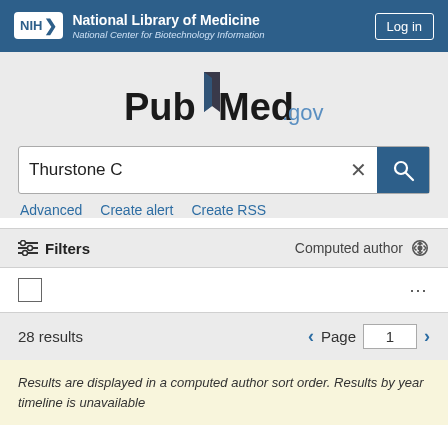NIH National Library of Medicine National Center for Biotechnology Information | Log in
[Figure (logo): PubMed.gov logo with stylized open book between Pub and Med]
Thurstone C
Advanced  Create alert  Create RSS
≡ Filters   Computed author ⚙
☐  ...
28 results   Page 1
Results are displayed in a computed author sort order. Results by year timeline is unavailable